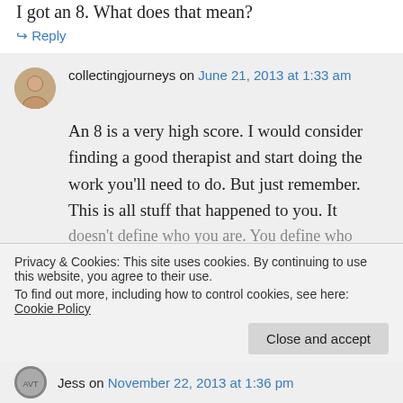I got an 8. What does that mean?
↪ Reply
collectingjourneys on June 21, 2013 at 1:33 am
An 8 is a very high score. I would consider finding a good therapist and start doing the work you'll need to do. But just remember. This is all stuff that happened to you. It doesn't define who you are. You define who
Privacy & Cookies: This site uses cookies. By continuing to use this website, you agree to their use.
To find out more, including how to control cookies, see here: Cookie Policy
Close and accept
Jess on November 22, 2013 at 1:36 pm